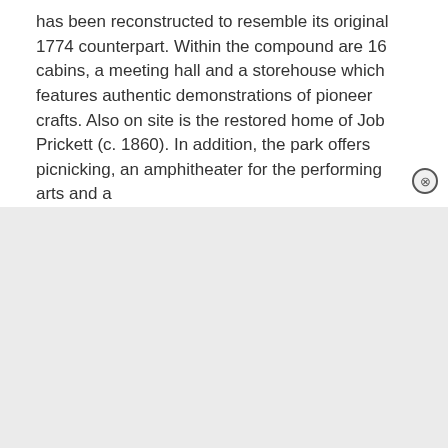has been reconstructed to resemble its original 1774 counterpart. Within the compound are 16 cabins, a meeting hall and a storehouse which features authentic demonstrations of pioneer crafts. Also on site is the restored home of Job Prickett (c. 1860). In addition, the park offers picnicking, an amphitheater for the performing arts and a